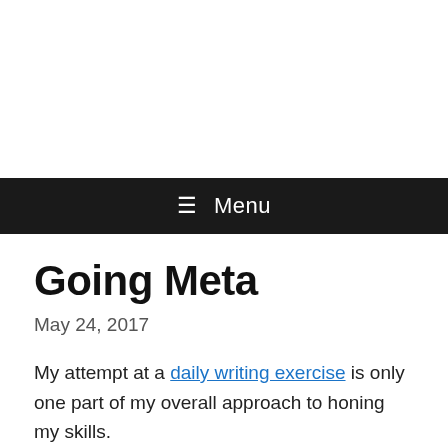≡ Menu
Going Meta
May 24, 2017
My attempt at a daily writing exercise is only one part of my overall approach to honing my skills.
Another exercise that I've adopted for some time now is about idea generation. I've now read about variations on this technique in several places, and have adopted my own